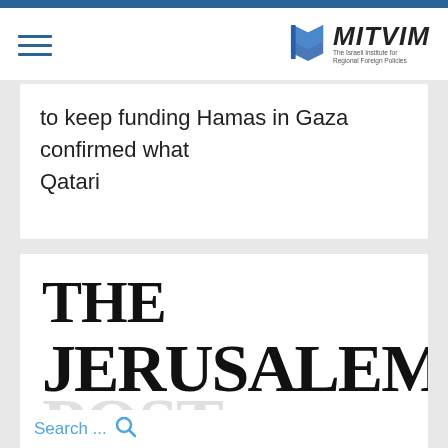MITVIM – The Israeli Institute for Regional Foreign Policies
to keep funding Hamas in Gaza confirmed what Qatari
[Figure (logo): The Jerusalem Post newspaper logo showing 'THE JERUSALEM' in large bold serif font with 'POST' partially visible, and a search bar at the bottom]
Search ...